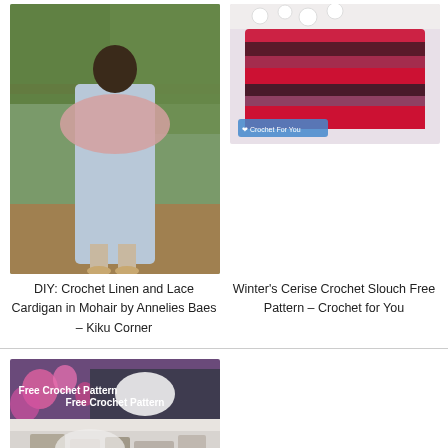[Figure (photo): Woman standing outdoors in a light blue dress wearing a pink crochet shawl/cardigan, surrounded by autumn trees and fence]
DIY: Crochet Linen and Lace Cardigan in Mohair by Annelies Baes – Kiku Corner
[Figure (photo): Colorful crochet slouch hat in red, pink, white, and dark colors with 'Crochet For You' logo watermark]
Winter's Cerise Crochet Slouch Free Pattern – Crochet for You
[Figure (photo): Free Crochet Pattern text overlay on image with flowers and a white crocheted item, partially cut off at bottom]